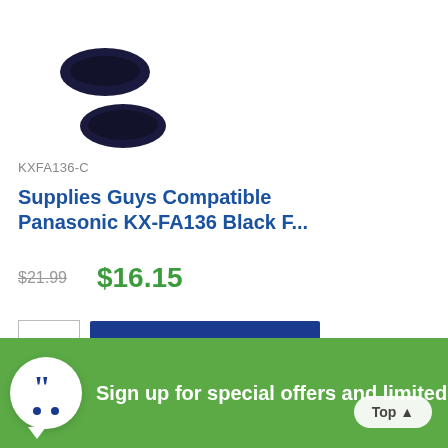[Figure (photo): Product image showing two black cylindrical ink film rolls/cartridges for a fax machine, stacked diagonally against a white background.]
KXFA136-C
Supplies Guys Compatible Panasonic KX-FA136 Black F...
$21.99  $16.15
QTY  Add to Cart
Sign up for special offers and limited